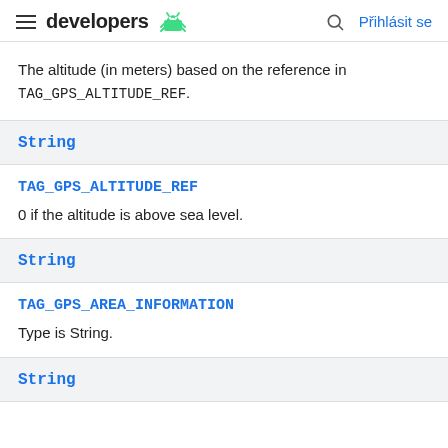developers
The altitude (in meters) based on the reference in TAG_GPS_ALTITUDE_REF.
String
TAG_GPS_ALTITUDE_REF
0 if the altitude is above sea level.
String
TAG_GPS_AREA_INFORMATION
Type is String.
String